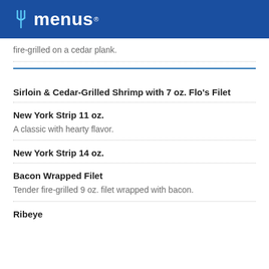allmenus
fire-grilled on a cedar plank.
Sirloin & Cedar-Grilled Shrimp with 7 oz. Flo's Filet
New York Strip 11 oz.
A classic with hearty flavor.
New York Strip 14 oz.
Bacon Wrapped Filet
Tender fire-grilled 9 oz. filet wrapped with bacon.
Ribeye